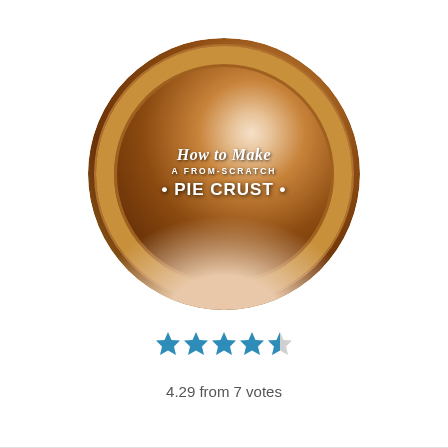[Figure (photo): Circular photo of a golden-brown pumpkin pie held in two hands, with white text overlay reading 'How to Make A FROM-SCRATCH • PIE CRUST •']
4.29 from 7 votes